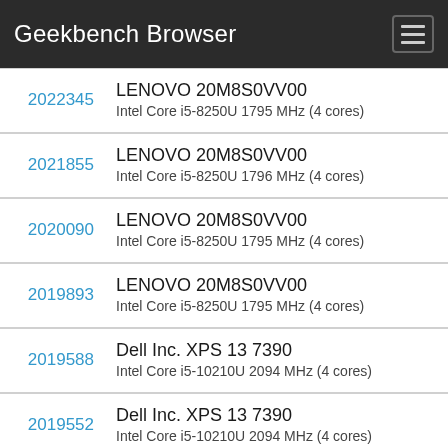Geekbench Browser
2022345 | LENOVO 20M8S0VV00 | Intel Core i5-8250U 1795 MHz (4 cores)
2021855 | LENOVO 20M8S0VV00 | Intel Core i5-8250U 1796 MHz (4 cores)
2020090 | LENOVO 20M8S0VV00 | Intel Core i5-8250U 1795 MHz (4 cores)
2019893 | LENOVO 20M8S0VV00 | Intel Core i5-8250U 1795 MHz (4 cores)
2019588 | Dell Inc. XPS 13 7390 | Intel Core i5-10210U 2094 MHz (4 cores)
2019552 | Dell Inc. XPS 13 7390 | Intel Core i5-10210U 2094 MHz (4 cores)
2018831 | LENOVO 20M8S0VV00 | Intel Core i5-8250U 1795 MHz (4 cores)